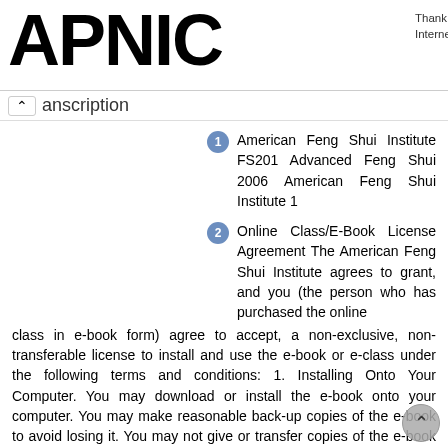APNIC
Thank you for helping us measure the Internet.
anscription
1 American Feng Shui Institute FS201 Advanced Feng Shui 2006 American Feng Shui Institute 1
2 Online Class/E-Book License Agreement The American Feng Shui Institute agrees to grant, and you (the person who has purchased the online class in e-book form) agree to accept, a non-exclusive, non-transferable license to install and use the e-book or e-class under the following terms and conditions: 1. Installing Onto Your Computer. You may download or install the e-book onto your computer. You may make reasonable back-up copies of the e-book to avoid losing it. You may not give or transfer copies of the e-book to others, or make the e-